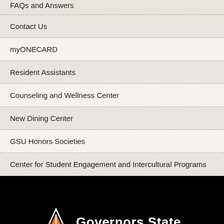FAQs and Answers (partial)
Contact Us
myONECARD
Resident Assistants
Counseling and Wellness Center
New Dining Center
GSU Honors Societies
Center for Student Engagement and Intercultural Programs
[Figure (logo): Governors State University logo with orange triangle icon and white bold text reading 'Governors State' on a black background]